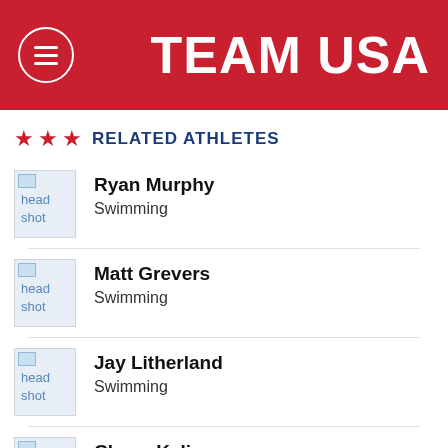TEAM USA
RELATED ATHLETES
Ryan Murphy - Swimming
Matt Grevers - Swimming
Jay Litherland - Swimming
Chase Kalisz - Swimming